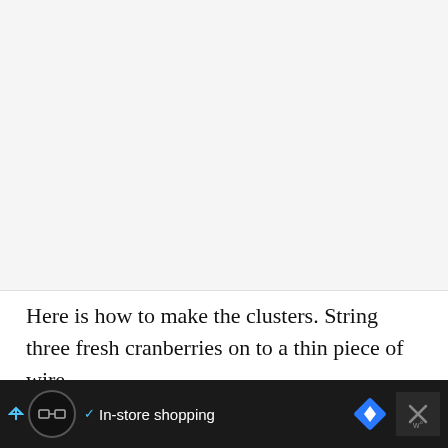[Figure (photo): Image placeholder area - light grey background, appears to be a photo of cranberry clusters on wire]
Here is how to make the clusters. String three fresh cranberries on to a thin piece of wire.
Bend them around to form a ring, and
[Figure (other): Advertisement bar at bottom: black background with circular logo icon, checkmark, 'In-store shopping' text, blue diamond navigation icon, and X close button]